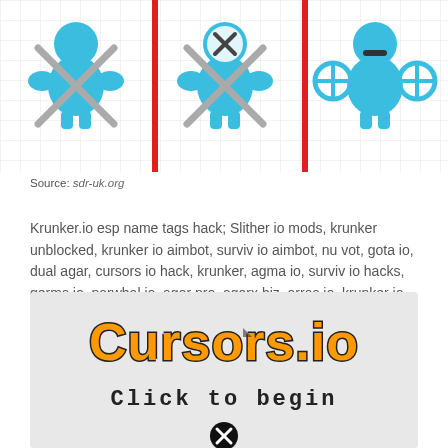[Figure (screenshot): Three cartoon game characters (robots/fighters) on a grid background with red vertical bars separating them]
Source: sdr-uk.org
Krunker.io esp name tags hack; Slither io mods, krunker unblocked, krunker io aimbot, surviv io aimbot, nu vot, gota io, dual agar, cursors io hack, krunker, agma io, surviv io hacks, germs io, narwhal io, agar pro, agarx biz, arras io, krunker io, yorg io.
[Figure (screenshot): Cursors.io game screenshot with orange title text 'Cursors.io', subtitle 'Click to begin', and an X circle button at the bottom on a light gray background]